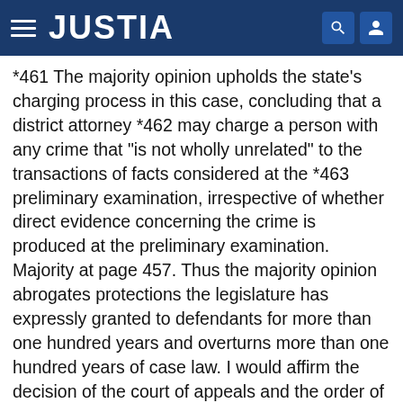JUSTIA
*461 The majority opinion upholds the state's charging process in this case, concluding that a district attorney *462 may charge a person with any crime that "is not wholly unrelated" to the transactions of facts considered at the *463 preliminary examination, irrespective of whether direct evidence concerning the crime is produced at the preliminary examination. Majority at page 457. Thus the majority opinion abrogates protections the legislature has expressly granted to defendants for more than one hundred years and overturns more than one hundred years of case law. I would affirm the decision of the court of appeals and the order of the circuit court and therefore dissent.
I.
The majority opinion's interpretation of sec. 971.01(1)